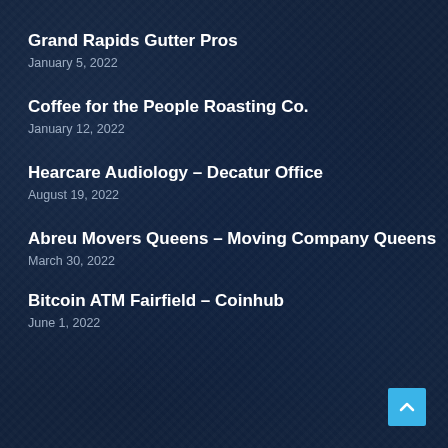Grand Rapids Gutter Pros
January 5, 2022
Coffee for the People Roasting Co.
January 12, 2022
Hearcare Audiology – Decatur Office
August 19, 2022
Abreu Movers Queens – Moving Company Queens
March 30, 2022
Bitcoin ATM Fairfield – Coinhub
June 1, 2022